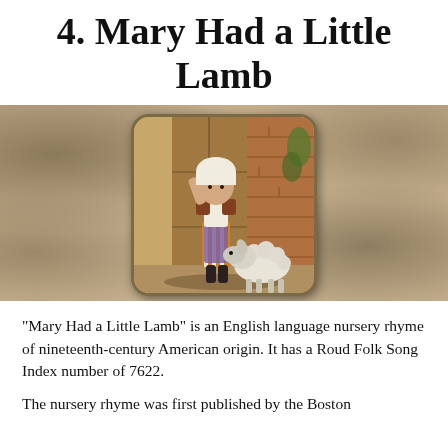4. Mary Had a Little Lamb
[Figure (illustration): Vintage illustration of a young girl (Mary) in a bonnet and apron with a white lamb at her side, set against a wooden door and brick wall background, rendered in antique card style with rounded corners on a mottled parchment background.]
“Mary Had a Little Lamb” is an English language nursery rhyme of nineteenth-century American origin. It has a Roud Folk Song Index number of 7622.
The nursery rhyme was first published by the Boston